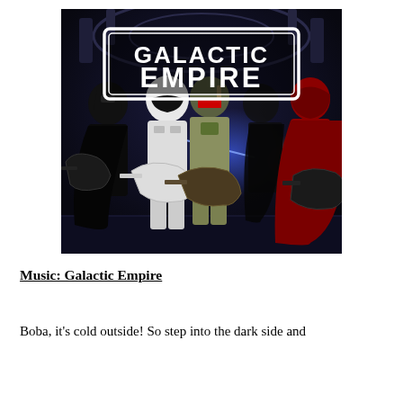[Figure (photo): Album cover or promotional photo for 'Galactic Empire' — Star Wars characters (Darth Vader, Stormtrooper, Boba Fett, Darth Vader again, Royal Guard) dressed as a rock band holding electric guitars on a futuristic Death Star set, with bold 'GALACTIC EMPIRE' logo text at the top.]
Music: Galactic Empire
Boba, it's cold outside! So step into the dark side and